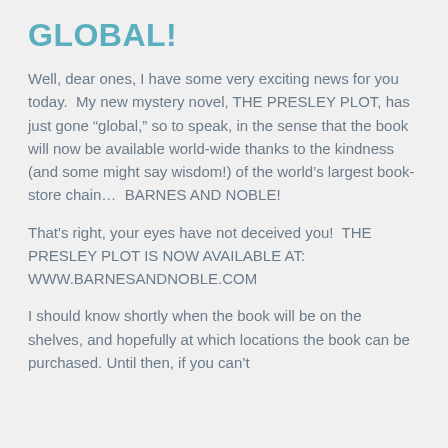GLOBAL!
Well, dear ones, I have some very exciting news for you today.  My new mystery novel, THE PRESLEY PLOT, has just gone “global,” so to speak, in the sense that the book will now be available world-wide thanks to the kindness (and some might say wisdom!) of the world’s largest book-store chain….  BARNES AND NOBLE!
That's right, your eyes have not deceived you!  THE PRESLEY PLOT IS NOW AVAILABLE AT: WWW.BARNESANDNOBLE.COM
I should know shortly when the book will be on the shelves, and hopefully at which locations the book can be purchased. Until then, if you can’t...